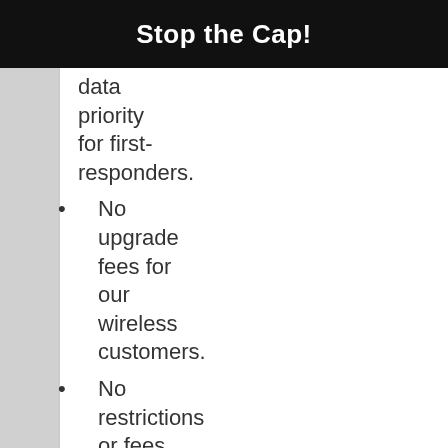Stop the Cap!
data priority for first-responders.
No upgrade fees for our wireless customers.
No restrictions or fees on making wireless plan adjustments